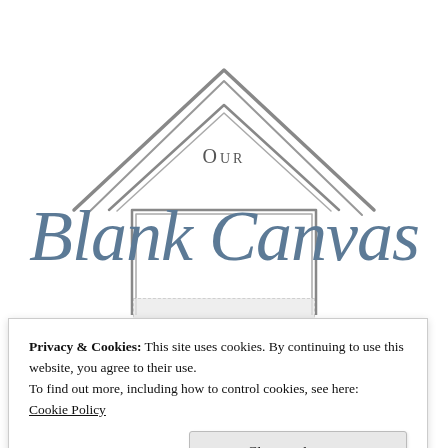[Figure (logo): Our Blank Canvas logo: a hand-drawn house outline with the words 'Our' inside the rooftop area and 'Blank Canvas' in large cursive script overlapping the house shape. The house has a triangular roof and rectangular body drawn in rough pencil style. The text 'Blank Canvas' is in a blue-grey cursive font.]
Privacy & Cookies: This site uses cookies. By continuing to use this website, you agree to their use.
To find out more, including how to control cookies, see here:
Cookie Policy
Close and accept
Heating things up